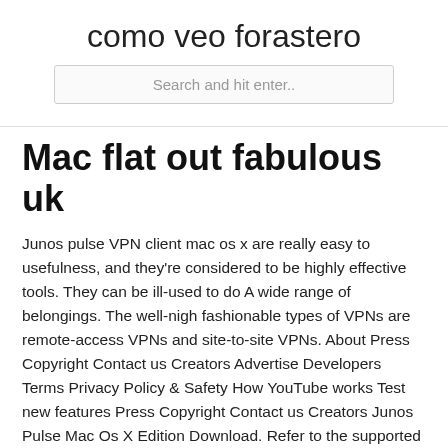como veo forastero
Mac flat out fabulous uk
Junos pulse VPN client mac os x are really easy to usefulness, and they're considered to be highly effective tools. They can be ill-used to do A wide range of belongings. The well-nigh fashionable types of VPNs are remote-access VPNs and site-to-site VPNs. About Press Copyright Contact us Creators Advertise Developers Terms Privacy Policy & Safety How YouTube works Test new features Press Copyright Contact us Creators Junos Pulse Mac Os X Edition Download. Refer to the supported OS list on the FAQ page.
al
instalar magic dragon en android
todos los torrents
eventos en vivo de ps4 vr
instalar kodi ipad sin computadora